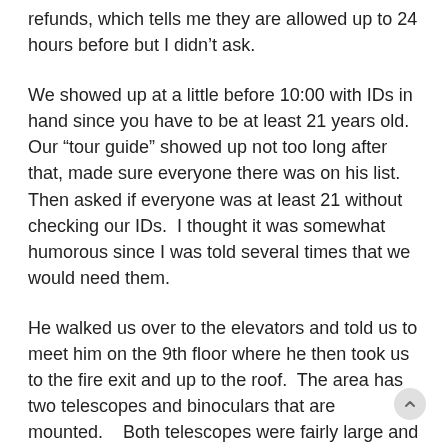refunds, which tells me they are allowed up to 24 hours before but I didn't ask.
We showed up at a little before 10:00 with IDs in hand since you have to be at least 21 years old.  Our "tour guide" showed up not too long after that, made sure everyone there was on his list. Then asked if everyone was at least 21 without checking our IDs.  I thought it was somewhat humorous since I was told several times that we would need them.
He walked us over to the elevators and told us to meet him on the 9th floor where he then took us to the fire exit and up to the roof.  The area has two telescopes and binoculars that are mounted.   Both telescopes were fairly large and a computer automatically found the celestial objects we wanted to see.
The...